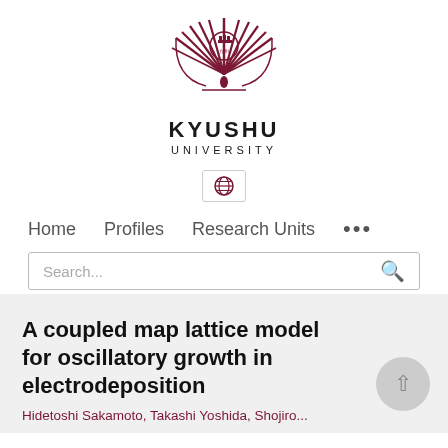[Figure (logo): Kyushu University logo — a stylized phoenix/sunburst emblem in dark red/maroon above the text KYUSHU UNIVERSITY]
[Figure (screenshot): Globe icon inside a bordered button, representing a language/region selector]
Home   Profiles   Research Units   ...
Search...
A coupled map lattice model for oscillatory growth in electrodeposition
Hidetoshi Sakamoto, Takashi Yoshida, Shojiro...